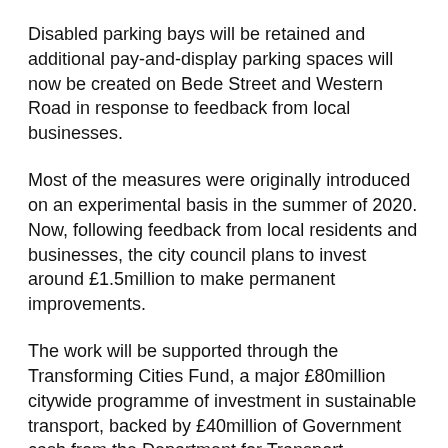Disabled parking bays will be retained and additional pay-and-display parking spaces will now be created on Bede Street and Western Road in response to feedback from local businesses.
Most of the measures were originally introduced on an experimental basis in the summer of 2020. Now, following feedback from local residents and businesses, the city council plans to invest around £1.5million to make permanent improvements.
The work will be supported through the Transforming Cities Fund, a major £80million citywide programme of investment in sustainable transport, backed by £40million of Government cash from the Department for Transport.
Work will be carried out in phases to minimise